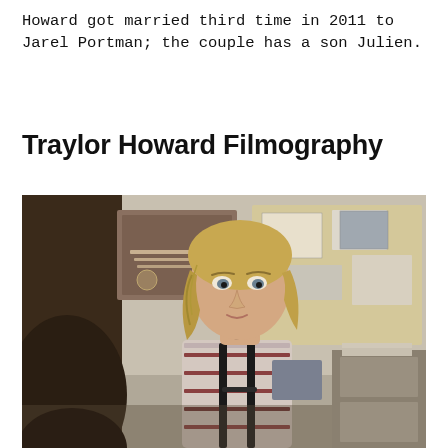Howard got married third time in 2011 to Jarel Portman; the couple has a son Julien.
Traylor Howard Filmography
[Figure (photo): A young woman with short blonde hair wearing a striped shirt with suspenders and a necklace, sitting in what appears to be an office or school setting with papers and a bulletin board in the background.]